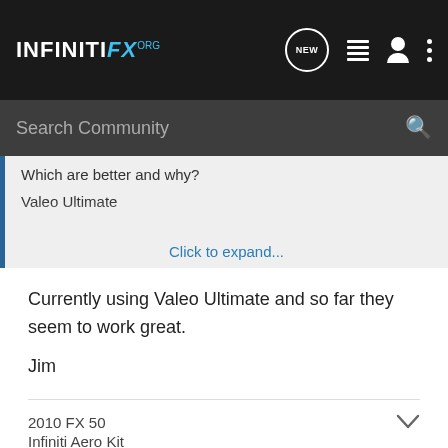INFINITI FX .ORG
Search Community
Which are better and why?

Valeo Ultimate

Click to expand...
Currently using Valeo Ultimate and so far they seem to work great.

Jim
2010 FX 50
Infiniti Aero Kit